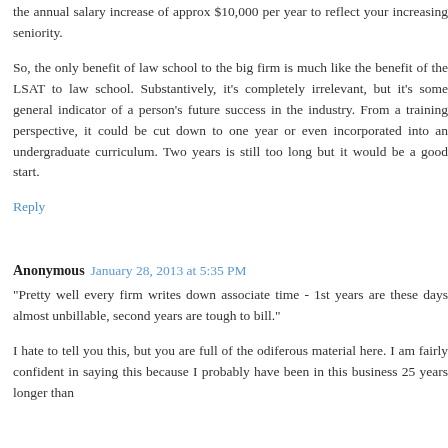the annual salary increase of approx $10,000 per year to reflect your increasing seniority.
So, the only benefit of law school to the big firm is much like the benefit of the LSAT to law school. Substantively, it's completely irrelevant, but it's some general indicator of a person's future success in the industry. From a training perspective, it could be cut down to one year or even incorporated into an undergraduate curriculum. Two years is still too long but it would be a good start.
Reply
Anonymous  January 28, 2013 at 5:35 PM
"Pretty well every firm writes down associate time - 1st years are these days almost unbillable, second years are tough to bill."
I hate to tell you this, but you are full of the odiferous material here. I am fairly confident in saying this because I probably have been in this business 25 years longer than